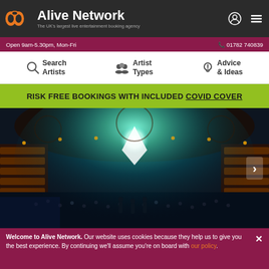Alive Network — The UK's largest live entertainment booking agency
Open 9am-5.30pm, Mon-Fri   01782 740839
Search Artists   Artist Types   Advice & Ideas
RISK FREE BOOKINGS WITH INCLUDED COVID COVER
[Figure (photo): Concert hall with bright stage light, performers on stage, large seated audience filling the venue]
Welcome to Alive Network. Our website uses cookies because they help us to give you the best experience. By continuing we'll assume you're on board with our policy.